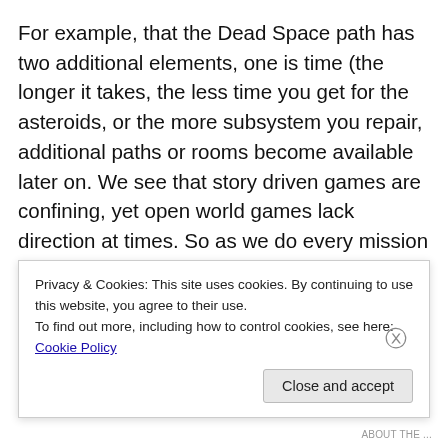For example, that the Dead Space path has two additional elements, one is time (the longer it takes, the less time you get for the asteroids, or the more subsystem you repair, additional paths or rooms become available later on. We see that story driven games are confining, yet open world games lack direction at times. So as we do every mission in Skyrim or Oblivion we tackle the game in one go, but if we are another race or gender, or even the actual time? What if that decides our missions and paths?
Privacy & Cookies: This site uses cookies. By continuing to use this website, you agree to their use.
To find out more, including how to control cookies, see here: Cookie Policy
Close and accept